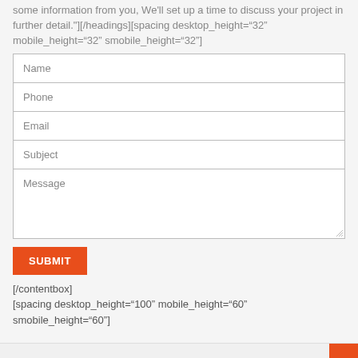some information from you, We'll set up a time to discuss your project in further detail."][/headings][spacing desktop_height="32" mobile_height="32" smobile_height="32"]
[Figure (screenshot): Web contact form with fields: Name, Phone, Email, Subject, Message, and a SUBMIT button]
[/contentbox]
[spacing desktop_height="100" mobile_height="60" smobile_height="60"]